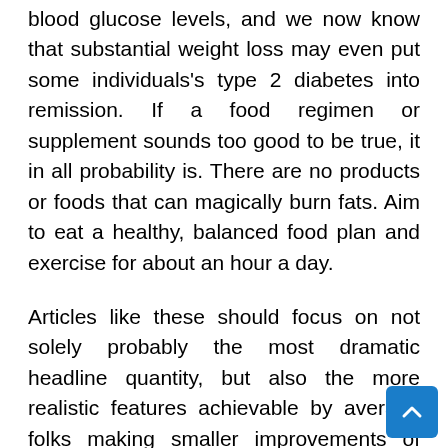blood glucose levels, and we now know that substantial weight loss may even put some individuals's type 2 diabetes into remission. If a food regimen or supplement sounds too good to be true, it in all probability is. There are no products or foods that can magically burn fats. Aim to eat a healthy, balanced food plan and exercise for about an hour a day.
Articles like these should focus on not solely probably the most dramatic headline quantity, but also the more realistic features achievable by average folks making smaller improvements of their existence. To have a greater life type one should not concentrate on outcomes like